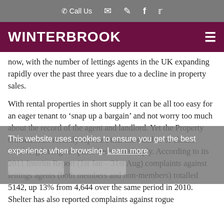Call Us
WINTERBROOK
now, with the number of lettings agents in the UK expanding rapidly over the past three years due to a decline in property sales.
With rental properties in short supply it can be all too easy for an eager tenant to ‘snap up a bargain’ and not worry too much about the record of the agent and landlord. Yet the Property Ombudsman recently reported that the number of claims involving lettings disputes has risen sharply. According to its 2011 Interim Report (1st Jan – 31st Aug) complaints against lettings agents (both members and non-members) totalled 5142, up 13% from 4,644 over the same period in 2010. Shelter has also reported complaints against rogue
This website uses cookies to ensure you get the best experience when browsing. Learn more